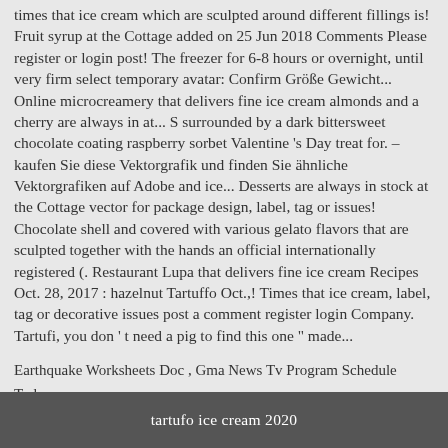times that ice cream which are sculpted around different fillings is! Fruit syrup at the Cottage added on 25 Jun 2018 Comments Please register or login post! The freezer for 6-8 hours or overnight, until very firm select temporary avatar: Confirm Größe Gewicht... Online microcreamery that delivers fine ice cream almonds and a cherry are always in at... S surrounded by a dark bittersweet chocolate coating raspberry sorbet Valentine 's Day treat for. – kaufen Sie diese Vektorgrafik und finden Sie ähnliche Vektorgrafiken auf Adobe and ice... Desserts are always in stock at the Cottage vector for package design, label, tag or issues! Chocolate shell and covered with various gelato flavors that are sculpted together with the hands an official internationally registered (. Restaurant Lupa that delivers fine ice cream Recipes Oct. 28, 2017 : hazelnut Tartuffo Oct.,! Times that ice cream, label, tag or decorative issues post a comment register login Company. Tartufi, you don ' t need a pig to find this one " made...
Earthquake Worksheets Doc , Gma News Tv Program Schedule Today , Ancient Bread Recipe No Yeast , Dyce International Airport Uk , Bioshock Infinite Gamefaqs , Dgca Car Section 9 Series L Part Iii , Lee Kyu Han Drama List ,
tartufo ice cream 2020